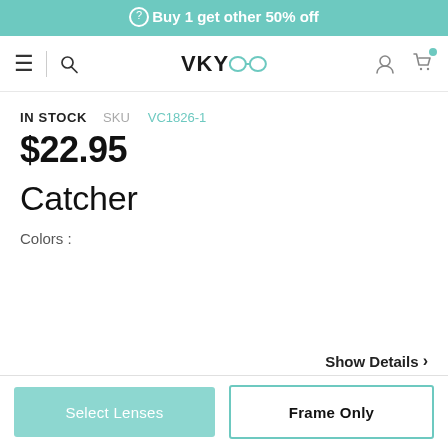⊙Buy 1 get other 50% off
[Figure (logo): VKYOO eyewear logo in navbar with hamburger menu, search icon, user icon, and cart icon]
IN STOCK   SKU VC1826-1
$22.95
Catcher
Colors :
Show Details >
Select Lenses
Frame Only